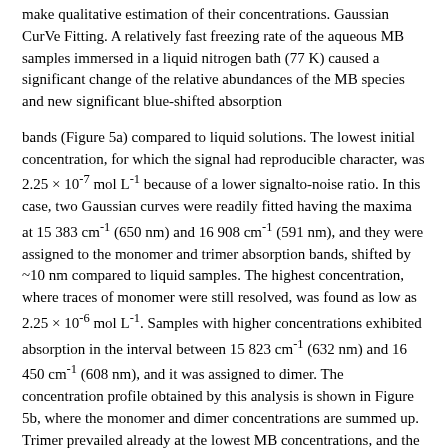make qualitative estimation of their concentrations. Gaussian CurVe Fitting. A relatively fast freezing rate of the aqueous MB samples immersed in a liquid nitrogen bath (77 K) caused a significant change of the relative abundances of the MB species and new significant blue-shifted absorption
bands (Figure 5a) compared to liquid solutions. The lowest initial concentration, for which the signal had reproducible character, was 2.25 × 10-7 mol L-1 because of a lower signalto-noise ratio. In this case, two Gaussian curves were readily fitted having the maxima at 15 383 cm-1 (650 nm) and 16 908 cm-1 (591 nm), and they were assigned to the monomer and trimer absorption bands, shifted by ~10 nm compared to liquid samples. The highest concentration, where traces of monomer were still resolved, was found as low as 2.25 × 10-6 mol L-1. Samples with higher concentrations exhibited absorption in the interval between 15 823 cm-1 (632 nm) and 16 450 cm-1 (608 nm), and it was assigned to dimer. The concentration profile obtained by this analysis is shown in Figure 5b, where the monomer and dimer concentrations are summed up. Trimer prevailed already at the lowest MB concentrations, and the largest peak in the spectrum had the maximum between 18 416 and 19 305 cm-1 (543 and 518 nm), which is considered to correspond to higher aggregates of MB, dominating at concentrations above ~5 × 10-6 mol L-1.